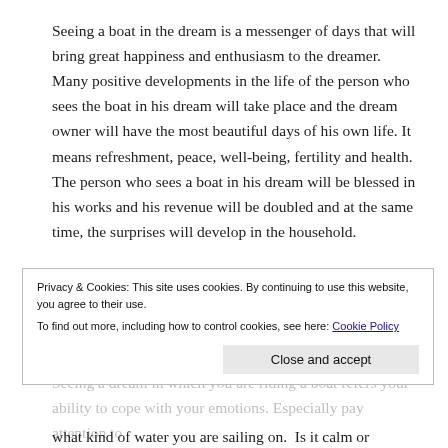Seeing a boat in the dream is a messenger of days that will bring great happiness and enthusiasm to the dreamer. Many positive developments in the life of the person who sees the boat in his dream will take place and the dream owner will have the most beautiful days of his own life. It means refreshment, peace, well-being, fertility and health. The person who sees a boat in his dream will be blessed in his works and his revenue will be doubled and at the same time, the surprises will develop in the household.
The boat refers to things that bring about the beauty and goodness. It means propitious deeds and health. It is said that the dream owner's business will be full of profits and his house will be filled with happiness.
Privacy & Cookies: This site uses cookies. By continuing to use this website, you agree to their use. To find out more, including how to control cookies, see here: Cookie Policy
Seeing a dream in which you are riding a boat refers your ability to cope with your emotions. Especially pay attention to what kind of water you are sailing on. Is it calm or violent,